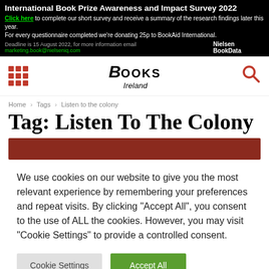International Book Prize Awareness and Impact Survey 2022
Click here to complete our short survey and receive a summary of the research findings later this year.
For every questionnaire completed we're donating 25p to BookAid International.
Deadline is 15 August 2022, for more information email marketing.book@nielseniq.com   Nielsen BookData
[Figure (logo): Books Ireland logo with grid menu icon and search icon]
Home › Tags › Listen to the colony
Tag: Listen To The Colony
[Figure (other): Dark red horizontal bar]
We use cookies on our website to give you the most relevant experience by remembering your preferences and repeat visits. By clicking "Accept All", you consent to the use of ALL the cookies. However, you may visit "Cookie Settings" to provide a controlled consent.
Cookie Settings   Accept All